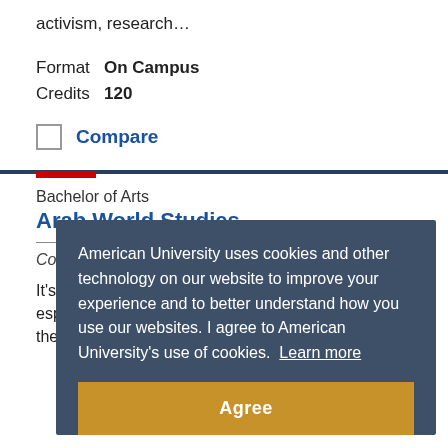activism, research…
Format  On Campus
Credits  120
Compare
Bachelor of Arts
Arab World Studies
College of Arts & Sciences
It's an exciting time to study the Arab World, especially at AU. You'll get a comprehensive view of the…
American University uses cookies and other technology on our website to improve your experience and to better understand how you use our websites. I agree to American University's use of cookies. Learn more
Agree